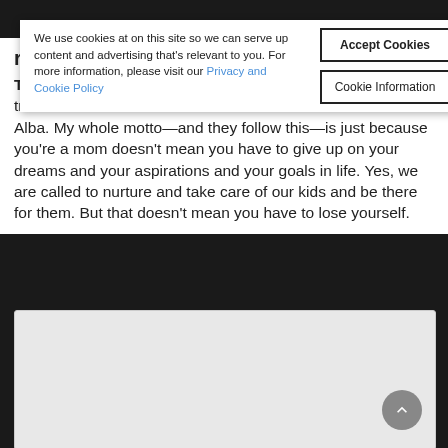We use cookies at on this site so we can serve up content and advertising that's relevant to you. For more information, please visit our Privacy and Cookie Policy
Accept Cookies
Cookie Information
right now?
TM: Camilla Alves. She's a very hands-on mom. She also travels around with her kids. I love her and I love Jessica Alba. My whole motto—and they follow this—is just because you're a mom doesn't mean you have to give up on your dreams and your aspirations and your goals in life. Yes, we are called to nurture and take care of our kids and be there for them. But that doesn't mean you have to lose yourself.
[Figure (photo): Image placeholder area at bottom of page, light gray background]